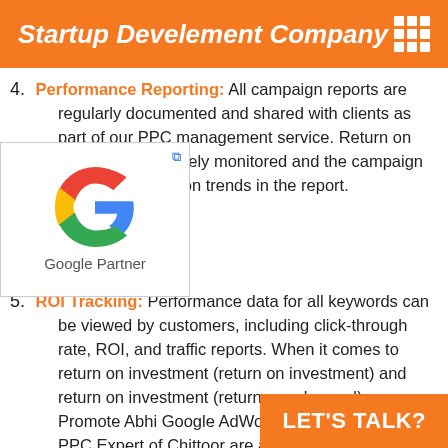Startup Develement Company
4. Performance Reporting: All campaign reports are regularly documented and shared with clients as part of our PPC management service. Return on investment is closely monitored and the campaign optimized based on trends in the report.
[Figure (logo): Google Partner badge with Google G logo and text 'Google Partner']
5. ROI Tracking: Performance data for all keywords can be viewed by customers, including click-through rate, ROI, and traffic reports. When it comes to return on investment (return on investment) and return on investment (return on ad spend), Promote Abhi Google AdWords and Bing Certified PPC Expert of Chittoor are achieving your goals within the budget described...